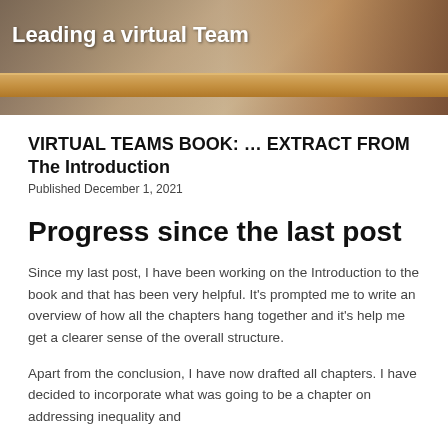[Figure (photo): Hero banner image showing a shelf with items, overlaid with bold white text 'Leading a virtual Team']
VIRTUAL TEAMS BOOK: … EXTRACT FROM The Introduction
Published December 1, 2021
Progress since the last post
Since my last post, I have been working on the Introduction to the book and that has been very helpful. It's prompted me to write an overview of how all the chapters hang together and it's help me get a clearer sense of the overall structure.
Apart from the conclusion, I have now drafted all chapters. I have decided to incorporate what was going to be a chapter on addressing inequality and